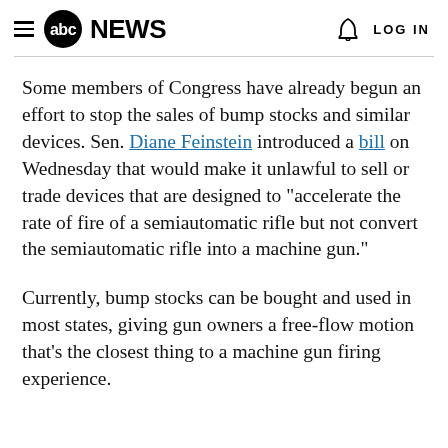≡ abc NEWS   🔔   LOG IN
Some members of Congress have already begun an effort to stop the sales of bump stocks and similar devices. Sen. Diane Feinstein introduced a bill on Wednesday that would make it unlawful to sell or trade devices that are designed to "accelerate the rate of fire of a semiautomatic rifle but not convert the semiautomatic rifle into a machine gun."
Currently, bump stocks can be bought and used in most states, giving gun owners a free-flow motion that's the closest thing to a machine gun firing experience.